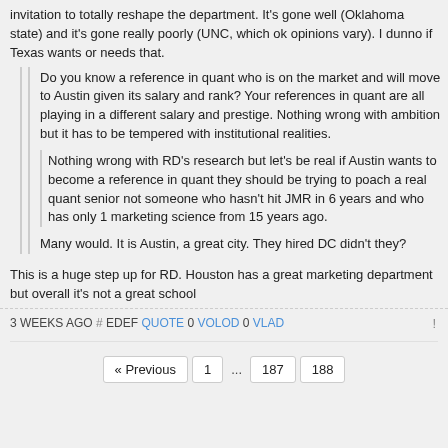invitation to totally reshape the department. It's gone well (Oklahoma state) and it's gone really poorly (UNC, which ok opinions vary). I dunno if Texas wants or needs that.
Do you know a reference in quant who is on the market and will move to Austin given its salary and rank? Your references in quant are all playing in a different salary and prestige. Nothing wrong with ambition but it has to be tempered with institutional realities.
Nothing wrong with RD's research but let's be real if Austin wants to become a reference in quant they should be trying to poach a real quant senior not someone who hasn't hit JMR in 6 years and who has only 1 marketing science from 15 years ago.
Many would. It is Austin, a great city. They hired DC didn't they?
This is a huge step up for RD. Houston has a great marketing department but overall it's not a great school
3 WEEKS AGO # EDEF QUOTE 0 VOLOD 0 VLAD !
« Previous 1 ... 187 188